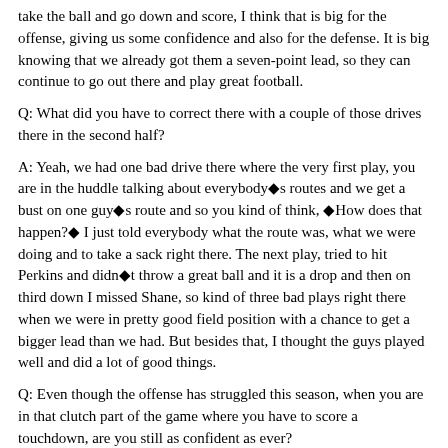take the ball and go down and score, I think that is big for the offense, giving us some confidence and also for the defense. It is big knowing that we already got them a seven-point lead, so they can continue to go out there and play great football.
Q: What did you have to correct there with a couple of those drives there in the second half?
A: Yeah, we had one bad drive there where the very first play, you are in the huddle talking about everybody◆s routes and we get a bust on one guy◆s route and so you kind of think, ◆How does that happen?◆ I just told everybody what the route was, what we were doing and to take a sack right there. The next play, tried to hit Perkins and didn◆t throw a great ball and it is a drop and then on third down I missed Shane, so kind of three bad plays right there when we were in pretty good field position with a chance to get a bigger lead than we had. But besides that, I thought the guys played well and did a lot of good things.
Q: Even though the offense has struggled this season, when you are in that clutch part of the game where you have to score a touchdown, are you still as confident as ever?
A: Yeah, I am confident in every series, so I thought today was good. We had a lot of completions, guys were taking check downs...